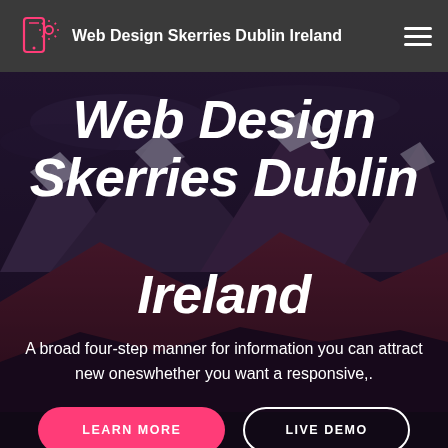Web Design Skerries Dublin Ireland
Web Design Skerries Dublin Ireland
A broad four-step manner for information you can attract new oneswhether you want a responsive,.
[Figure (illustration): Two buttons: pink 'LEARN MORE' button and dark outlined 'LIVE DEMO' button]